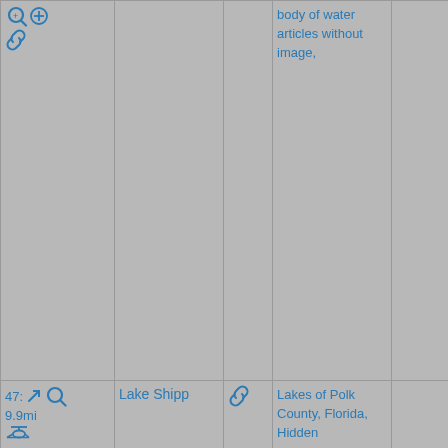|  | Name | Link | Categories |  |
| --- | --- | --- | --- | --- |
| [icons] |  |  | body of water articles without image, |  |
| 47: 9.9mi [icons] | Lake Shipp | [link icon] | Lakes of Polk County, Florida, Hidden categories:, Wikipedia |  |